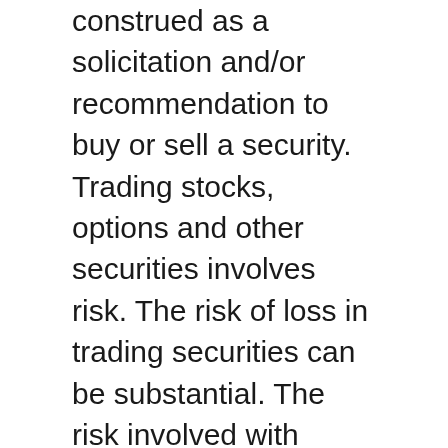construed as a solicitation and/or recommendation to buy or sell a security. Trading stocks, options and other securities involves risk. The risk of loss in trading securities can be substantial. The risk involved with trading stocks, options and other securities is not suitable for all investors. Prior to buying or selling an option, an investor must evaluate his/her own personal financial situation and consider all relevant risk factors. See: Characteristics and Risks of Standardized Options.
The information presented in this site is not intended to be used as the sole basis of any investment decisions, nor should it be construed as advice designed to meet the investment needs of any particular investor.